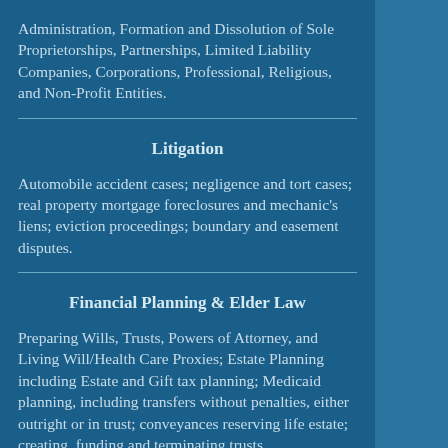Administration, Formation and Dissolution of Sole Proprietorships, Partnerships, Limited Liability Companies, Corporations, Professional, Religious, and Non-Profit Entities.
Litigation
Automobile accident cases; negligence and tort cases; real property mortgage foreclosures and mechanic's liens; eviction proceedings; boundary and easement disputes.
Financial Planning & Elder Law
Preparing Wills, Trusts, Powers of Attorney, and Living Will/Health Care Proxies; Estate Planning including Estate and Gift tax planning; Medicaid planning, including transfers without penalties, either outright or in trust; conveyances reserving life estate; creating, funding and terminating trusts.